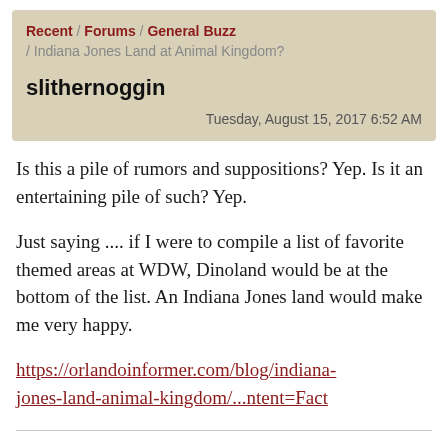Recent / Forums / General Buzz / Indiana Jones Land at Animal Kingdom?
slithernoggin
Tuesday, August 15, 2017 6:52 AM
Is this a pile of rumors and suppositions? Yep. Is it an entertaining pile of such? Yep.
Just saying .... if I were to compile a list of favorite themed areas at WDW, Dinoland would be at the bottom of the list. An Indiana Jones land would make me very happy.
https://orlandoinformer.com/blog/indiana-jones-land-animal-kingdom/...ntent=Fact
Life is something that happens when you can't get to sleep.